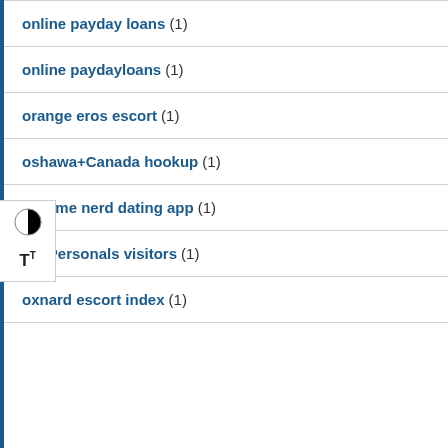online payday loans (1)
online paydayloans (1)
orange eros escort (1)
oshawa+Canada hookup (1)
ourtime nerd dating app (1)
OutPersonals visitors (1)
oxnard escort index (1)